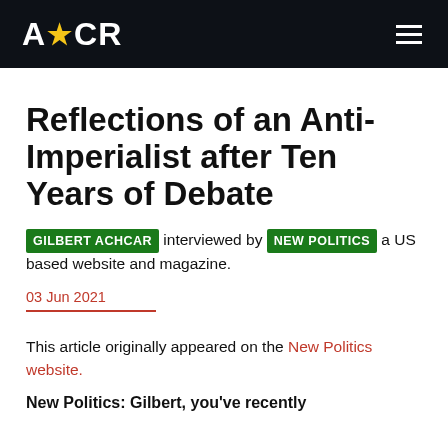ACR (logo)
Reflections of an Anti-Imperialist after Ten Years of Debate
GILBERT ACHCAR interviewed by NEW POLITICS a US based website and magazine.
03 Jun 2021
This article originally appeared on the New Politics website.
New Politics: Gilbert, you've recently